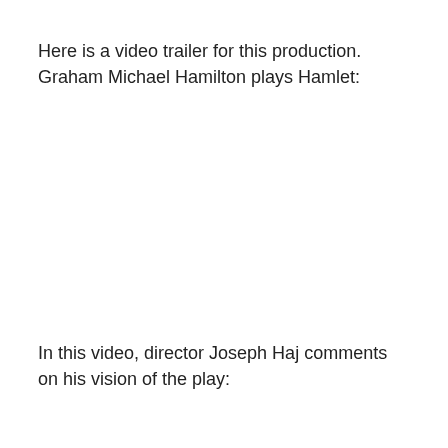Here is a video trailer for this production. Graham Michael Hamilton plays Hamlet:
In this video, director Joseph Haj comments on his vision of the play: